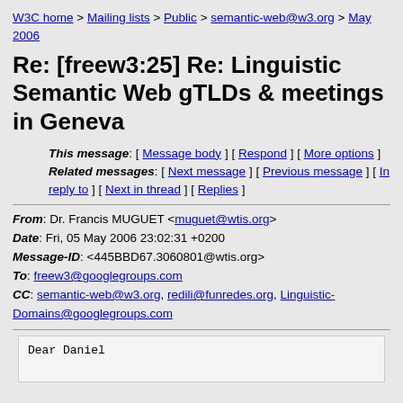W3C home > Mailing lists > Public > semantic-web@w3.org > May 2006
Re: [freew3:25] Re: Linguistic Semantic Web gTLDs & meetings in Geneva
This message: [ Message body ] [ Respond ] [ More options ] Related messages: [ Next message ] [ Previous message ] [ In reply to ] [ Next in thread ] [ Replies ]
From: Dr. Francis MUGUET <muguet@wtis.org>
Date: Fri, 05 May 2006 23:02:31 +0200
Message-ID: <445BBD67.3060801@wtis.org>
To: freew3@googlegroups.com
CC: semantic-web@w3.org, redili@funredes.org, Linguistic-Domains@googlegroups.com
Dear Daniel